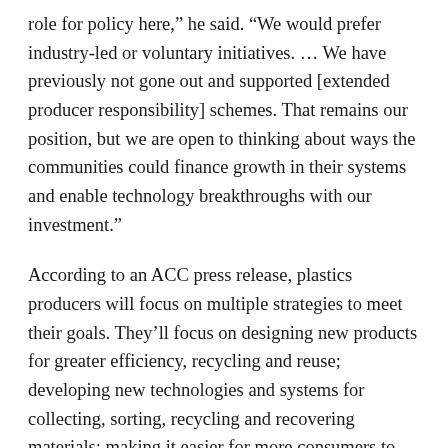role for policy here,” he said. “We would prefer industry-led or voluntary initiatives. … We have previously not gone out and supported [extended producer responsibility] schemes. That remains our position, but we are open to thinking about ways the communities could finance growth in their systems and enable technology breakthroughs with our investment.”
According to an ACC press release, plastics producers will focus on multiple strategies to meet their goals. They’ll focus on designing new products for greater efficiency, recycling and reuse; developing new technologies and systems for collecting, sorting, recycling and recovering materials; making it easier for more consumers to participate in recycling and recovery programs; expanding the types of plastics collected and repurposed; aligning products with key end markets; and expanding awareness that used plastics are valuable resources awaiting their next use.